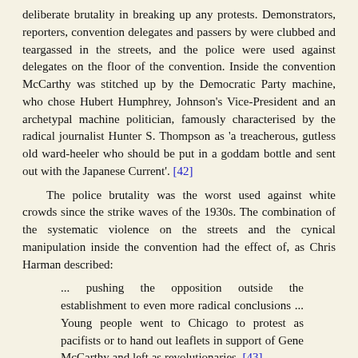deliberate brutality in breaking up any protests. Demonstrators, reporters, convention delegates and passers by were clubbed and teargassed in the streets, and the police were used against delegates on the floor of the convention. Inside the convention McCarthy was stitched up by the Democratic Party machine, who chose Hubert Humphrey, Johnson's Vice-President and an archetypal machine politician, famously characterised by the radical journalist Hunter S. Thompson as 'a treacherous, gutless old ward-heeler who should be put in a goddam bottle and sent out with the Japanese Current'. [42]
The police brutality was the worst used against white crowds since the strike waves of the 1930s. The combination of the systematic violence on the streets and the cynical manipulation inside the convention had the effect of, as Chris Harman described:
... pushing the opposition outside the establishment to even more radical conclusions ... Young people went to Chicago to protest as pacifists or to hand out leaflets in support of Gene McCarthy and left as revolutionaries. [43]
Meanwhile Johnson had not only refused Westmorland's request for more troops, but had started to withdraw